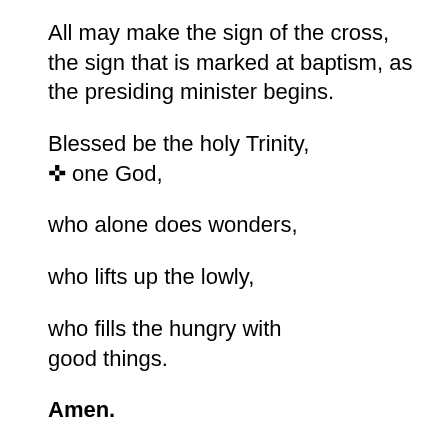All may make the sign of the cross, the sign that is marked at baptism, as the presiding minister begins.
Blessed be the holy Trinity, ✝ one God,
who alone does wonders,
who lifts up the lowly,
who fills the hungry with good things.
Amen.